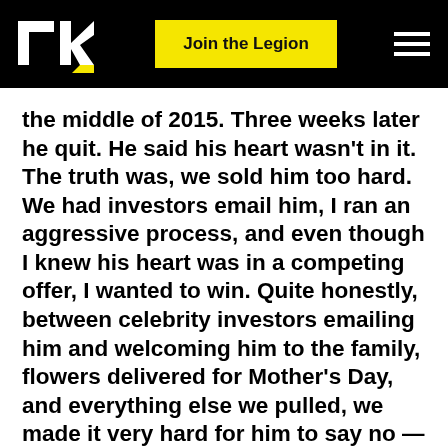TK | Join the Legion
the middle of 2015. Three weeks later he quit. He said his heart wasn't in it. The truth was, we sold him too hard. We had investors email him, I ran an aggressive process, and even though I knew his heart was in a competing offer, I wanted to win. Quite honestly, between celebrity investors emailing him and welcoming him to the family, flowers delivered for Mother's Day, and everything else we pulled, we made it very hard for him to say no — even though BOTH sides should have said NO and seen